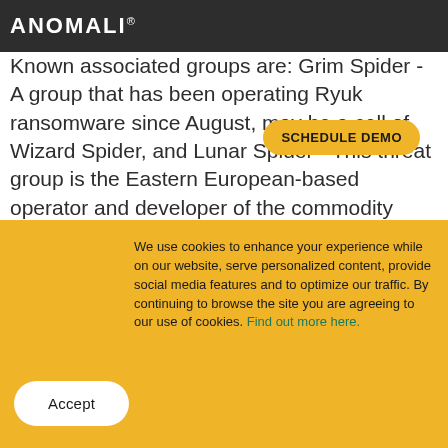ANOMALI®
Known associated groups are: Grim Spider - A group that has been operating Ryuk ransomware since August, may be a cell of Wizard Spider, and Lunar Spider - This threat group is the Eastern European-based operator and developer of the commodity banking malware called BokBot (aka IcedID). Main activities involve data theft and wire fraud.
Oil Rig
We use cookies to enhance your experience while on our website, serve personalized content, provide social media features and to optimize our traffic. By continuing to browse the site you are agreeing to our use of cookies. Find out more here.
Accept